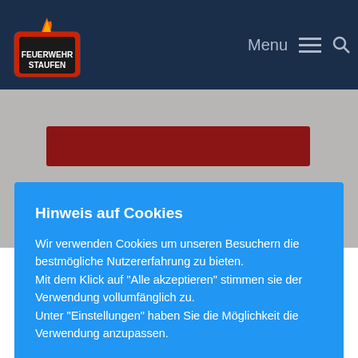Feuerwehr Staufen — Menu [hamburger] [search]
[Figure (screenshot): Cookie consent modal overlay on Feuerwehr Staufen website. Blue modal with title 'Hinweis auf Cookies', body text, and two buttons: 'Cookie Settings' and 'Alle akzeptieren'.]
Hinweis auf Cookies
Wir verwenden Cookies um unseren Besuchern die bestmögliche Nutzererfahrung zu bieten. Mit dem Klick auf "Alle akzeptieren" stimmen sie der Verwendung vollumfänglich zu. Unter "Einstellungen" haben Sie die Möglichkeit die Verwendung anzupassen.
Heute wurden wir durch die Brandmeldeanlage der Liveo Research GmbH alarmiert. Wartungsarbeiten an der Anlage waren der